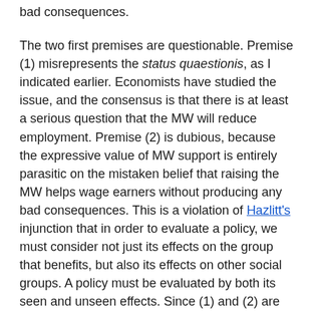bad consequences.
The two first premises are questionable. Premise (1) misrepresents the status quaestionis, as I indicated earlier. Economists have studied the issue, and the consensus is that there is at least a serious question that the MW will reduce employment. Premise (2) is dubious, because the expressive value of MW support is entirely parasitic on the mistaken belief that raising the MW helps wage earners without producing any bad consequences. This is a violation of Hazlitt's injunction that in order to evaluate a policy, we must consider not just its effects on the group that benefits, but also its effects on other social groups. A policy must be evaluated by both its seen and unseen effects. Since (1) and (2) are false, (4) is false.
If the MW supporter instead claims that those already employed are morally deserving beneficiaries of the raise, then he must not only justify why them, and not others, deserve this